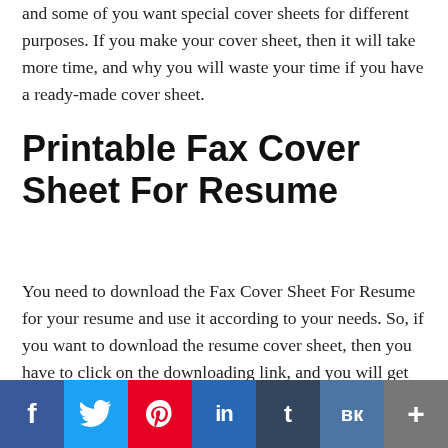and some of you want special cover sheets for different purposes. If you make your cover sheet, then it will take more time, and why you will waste your time if you have a ready-made cover sheet.
Printable Fax Cover Sheet For Resume
You need to download the Fax Cover Sheet For Resume for your resume and use it according to your needs. So, if you want to download the resume cover sheet, then you have to click on the downloading link, and you will get the cover sheet on your device at that paying age.
[Figure (infographic): Social media sharing bar with icons: Facebook (blue), Twitter (light blue), Pinterest (red), LinkedIn (dark blue), Tumblr (dark), VK (slate blue), More/Add (grey)]